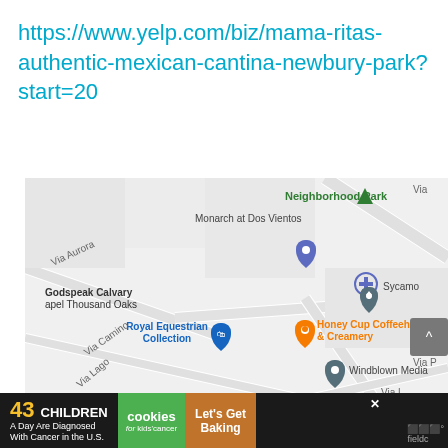https://www.yelp.com/biz/mama-ritas-authentic-mexican-cantina-newbury-park?start=20
[Figure (map): Google Maps screenshot showing Newbury Park area with landmarks: Neighborhood Park, Monarch at Dos Vientos, Via Aurora, Godspeak Calvary Chapel Thousand Oaks, Royal Equestrian Collection, Honey Cup Coffeehouse & Creamery, Sycamore, Windblown Media, Via Camino, Via Lago]
[Figure (screenshot): Advertisement banner: '43 CHILDREN A Day Are Diagnosed With Cancer in the U.S.' with cookies for kids cancer logo and 'Let's Get Baking' call to action]